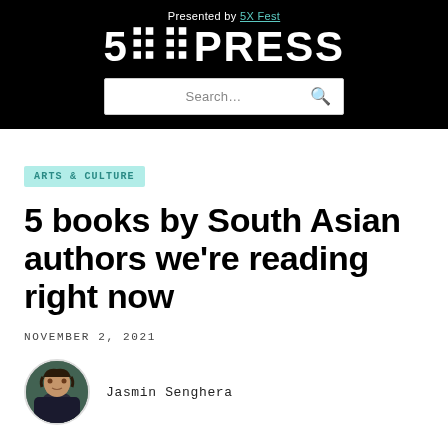Presented by 5X Fest
5×PRESS
Search…
ARTS & CULTURE
5 books by South Asian authors we're reading right now
NOVEMBER 2, 2021
Jasmin Senghera